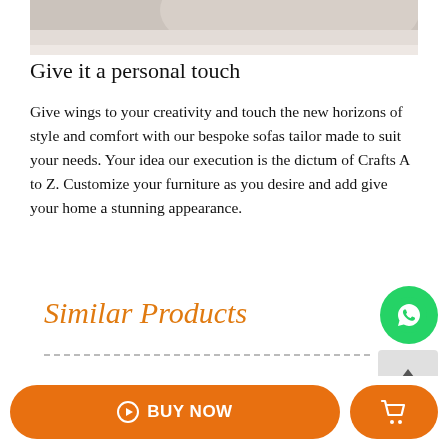[Figure (photo): Partial view of a sofa or cushion, close-up photo showing fabric texture in light beige/grey tones, cropped at top of page.]
Give it a personal touch
Give wings to your creativity and touch the new horizons of style and comfort with our bespoke sofas tailor made to suit your needs. Your idea our execution is the dictum of Crafts A to Z. Customize your furniture as you desire and add give your home a stunning appearance.
Similar Products
[Figure (logo): WhatsApp green circular button with phone/chat icon]
[Figure (other): Scroll-to-top button, grey rounded rectangle with upward arrow]
BUY NOW
[Figure (other): Shopping cart icon button, orange rounded rectangle]